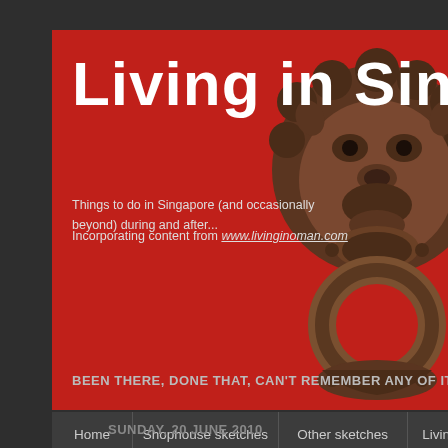Living in Singa
Things to do in Singapore (and occasionally beyond) during and after...
Incorporating content from www.livinginoman.com
BEEN THERE, DONE THAT, CAN'T REMEMBER ANY OF IT....
[Figure (photo): Bronze Chinese lion door knocker on a red door background]
Home
Shophouse sketches
Other sketches
Living
SUNDAY, 20 JUNE 2010